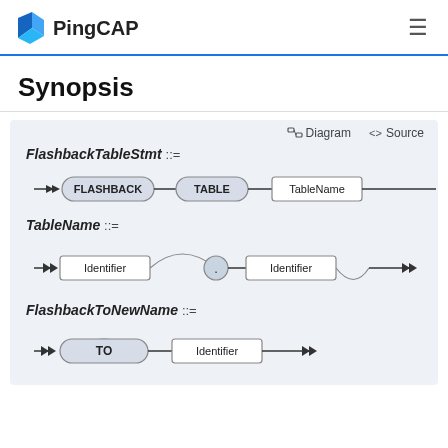PingCAP
Synopsis
[Figure (engineering-diagram): Railroad/syntax diagram for FlashbackTableStmt ::= showing FLASHBACK TABLE TableName tokens connected by arrows]
[Figure (engineering-diagram): Railroad/syntax diagram for TableName ::= showing Identifier . Identifier with optional repeat loop]
[Figure (engineering-diagram): Railroad/syntax diagram for FlashbackToNewName ::= showing TO Identifier tokens]